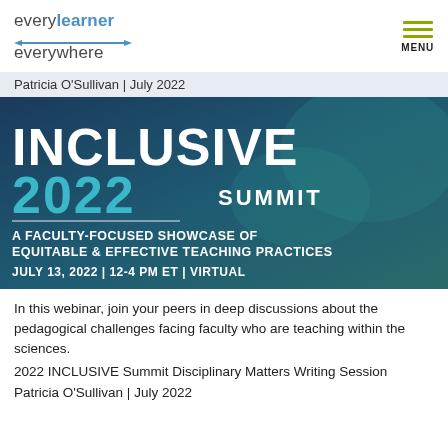every learner everywhere — MENU
Patricia O'Sullivan | July 2022
[Figure (other): Inclusive Summit 2022 banner. Dark blue/teal gradient background. Large white bold text reads INCLUSIVE SUMMIT. Below in teal: 2022. Subtitle: A FACULTY-FOCUSED SHOWCASE OF EQUITABLE & EFFECTIVE TEACHING PRACTICES. Date line: JULY 13, 2022 | 12-4 PM ET | VIRTUAL]
In this webinar, join your peers in deep discussions about the pedagogical challenges facing faculty who are teaching within the sciences.
2022 INCLUSIVE Summit Disciplinary Matters Writing Session
Patricia O'Sullivan | July 2022